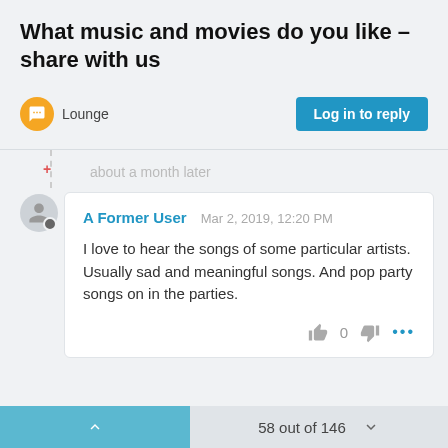What music and movies do you like – share with us
Lounge
Log in to reply
about a month later
A Former User  Mar 2, 2019, 12:20 PM
I love to hear the songs of some particular artists. Usually sad and meaningful songs. And pop party songs on in the parties.
0
58 out of 146